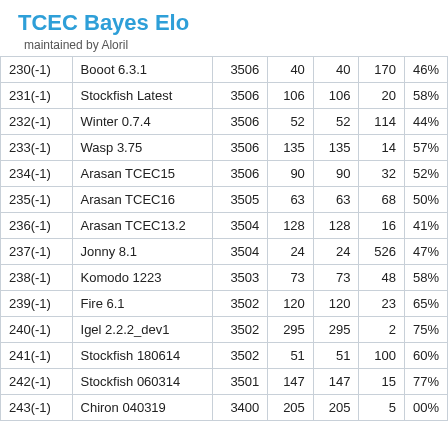TCEC Bayes Elo
maintained by Aloril
|  | Engine | Elo |  |  |  | % |
| --- | --- | --- | --- | --- | --- | --- |
| 230(-1) | Booot 6.3.1 | 3506 | 40 | 40 | 170 | 46% |
| 231(-1) | Stockfish Latest | 3506 | 106 | 106 | 20 | 58% |
| 232(-1) | Winter 0.7.4 | 3506 | 52 | 52 | 114 | 44% |
| 233(-1) | Wasp 3.75 | 3506 | 135 | 135 | 14 | 57% |
| 234(-1) | Arasan TCEC15 | 3506 | 90 | 90 | 32 | 52% |
| 235(-1) | Arasan TCEC16 | 3505 | 63 | 63 | 68 | 50% |
| 236(-1) | Arasan TCEC13.2 | 3504 | 128 | 128 | 16 | 41% |
| 237(-1) | Jonny 8.1 | 3504 | 24 | 24 | 526 | 47% |
| 238(-1) | Komodo 1223 | 3503 | 73 | 73 | 48 | 58% |
| 239(-1) | Fire 6.1 | 3502 | 120 | 120 | 23 | 65% |
| 240(-1) | Igel 2.2.2_dev1 | 3502 | 295 | 295 | 2 | 75% |
| 241(-1) | Stockfish 180614 | 3502 | 51 | 51 | 100 | 60% |
| 242(-1) | Stockfish 060314 | 3501 | 147 | 147 | 15 | 77% |
| 243(-1) | Chiron 040319... | 3400? | 205? | 205? | 5? | 00%? |